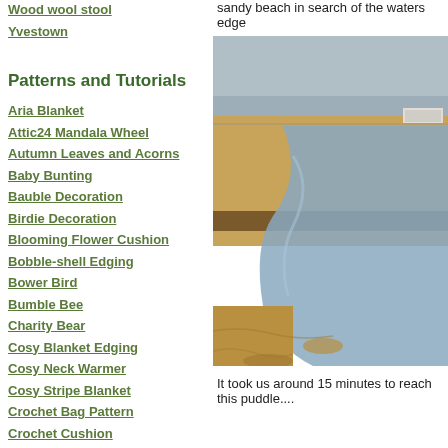Wood wool stool
Yvestown
Patterns and Tutorials
Aria Blanket
Attic24 Mandala Wheel
Autumn Leaves and Acorns
Baby Bunting
Bauble Decoration
Birdie Decoration
Blooming Flower Cushion
Bobble-shell Edging
Bower Bird
Bumble Bee
Charity Bear
Cosy Blanket Edging
Cosy Neck Warmer
Cosy Stripe Blanket
Crochet Bag Pattern
Crochet Cushion Construction
Crochet Daffodil
Crochet Daisy
Crochet Fern Leaf
Crochet Flowers and Leaves
Crochet Hellebore Flower
sandy beach in search of the waters edge
[Figure (photo): A sandy beach with a water channel running through it, flat landscape with a building in the background]
It took us around 15 minutes to reach this puddle....